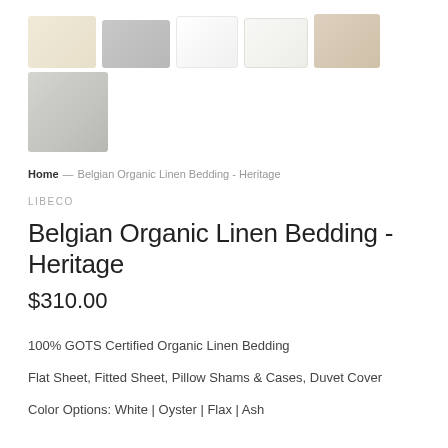[Figure (photo): Five linen pillow/bedding product thumbnails in a top row: cream/ivory rectangular pillow, gray rectangular pillow, white rectangular pillow, near-white rectangular pillow, sand/beige square pillow]
[Figure (photo): One square gray linen pillow thumbnail in a second row]
Home — Belgian Organic Linen Bedding - Heritage
LIBECO
Belgian Organic Linen Bedding - Heritage
$310.00
100% GOTS Certified Organic Linen Bedding
Flat Sheet, Fitted Sheet, Pillow Shams & Cases, Duvet Cover
Color Options: White | Oyster | Flax | Ash